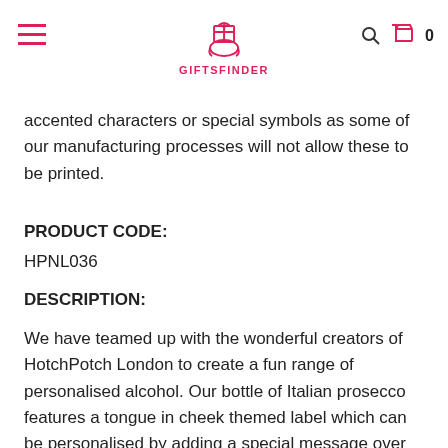GIFTS FINDER
accented characters or special symbols as some of our manufacturing processes will not allow these to be printed.
PRODUCT CODE:
HPNL036
DESCRIPTION:
We have teamed up with the wonderful creators of HotchPotch London to create a fun range of personalised alcohol. Our bottle of Italian prosecco features a tongue in cheek themed label which can be personalised by adding a special message over two lines of 40 characters. Please note 'You're On The Naughty List' is fixed text. The bottle is presented in a gold gift box filled with stuffing and t...